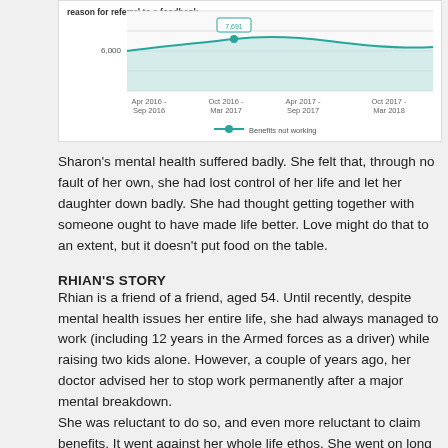[Figure (line-chart): Partial view of a line chart showing data related to referral to a foodbank, with time axis showing periods from Apr 2016–Sep 2016 through Oct 2017–Mar 2018, y-axis showing value around 6,000, and a legend entry for 'Benefits not working']
Sharon's mental health suffered badly. She felt that, through no fault of her own, she had lost control of her life and let her daughter down badly. She had thought getting together with someone ought to have made life better. Love might do that to an extent, but it doesn't put food on the table.
RHIAN'S STORY
Rhian is a friend of a friend, aged 54. Until recently, despite mental health issues her entire life, she had always managed to work (including 12 years in the Armed forces as a driver) while raising two kids alone. However, a couple of years ago, her doctor advised her to stop work permanently after a major mental breakdown.
She was reluctant to do so, and even more reluctant to claim benefits. It went against her whole life ethos. She went on long term sick leave and survived on sick pay and her savings